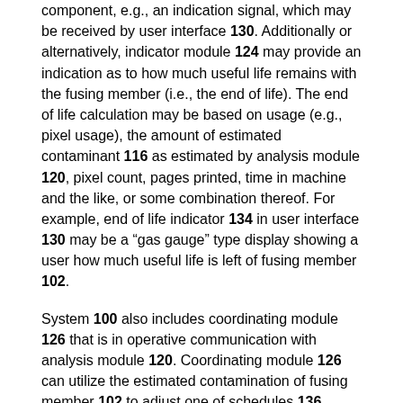component, e.g., an indication signal, which may be received by user interface 130. Additionally or alternatively, indicator module 124 may provide an indication as to how much useful life remains with the fusing member (i.e., the end of life). The end of life calculation may be based on usage (e.g., pixel usage), the amount of estimated contaminant 116 as estimated by analysis module 120, pixel count, pages printed, time in machine and the like, or some combination thereof. For example, end of life indicator 134 in user interface 130 may be a "gas gauge" type display showing a user how much useful life is left of fusing member 102.
System 100 also includes coordinating module 126 that is in operative communication with analysis module 120. Coordinating module 126 can utilize the estimated contamination of fusing member 102 to adjust one of schedules 136. Schedules 136 may be a schedule as found on a printing system. Schedules 136 include a job schedule, a sheet schedule, a fuser schedule and a print engine schedule. For example, a certain portion of fusing member 102 may be contaminated beyond a threshold and coordinating module may re-prioritize jobs so that the contaminated portion is not utilized the most during the